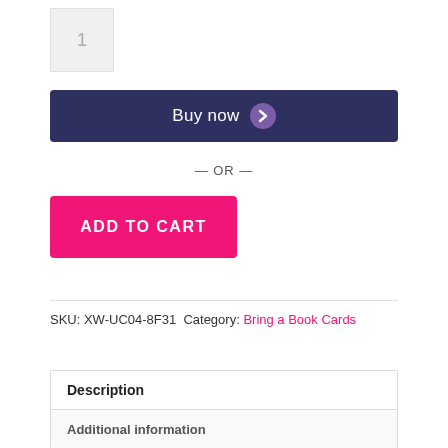1
Buy now
— OR —
ADD TO CART
SKU: XW-UC04-8F31  Category: Bring a Book Cards
Description
Additional information